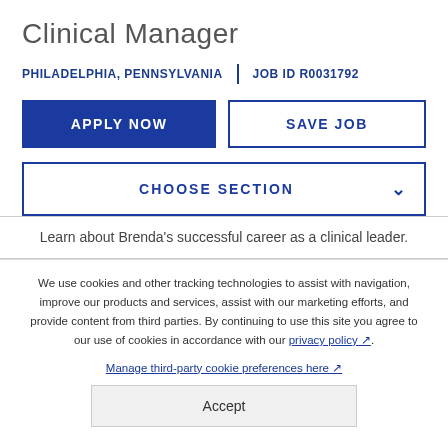Clinical Manager
PHILADELPHIA, PENNSYLVANIA | JOB ID R0031792
APPLY NOW
SAVE JOB
CHOOSE SECTION
Learn about Brenda's successful career as a clinical leader.
We use cookies and other tracking technologies to assist with navigation, improve our products and services, assist with our marketing efforts, and provide content from third parties. By continuing to use this site you agree to our use of cookies in accordance with our privacy policy ↗. Manage third-party cookie preferences here ↗.
Accept